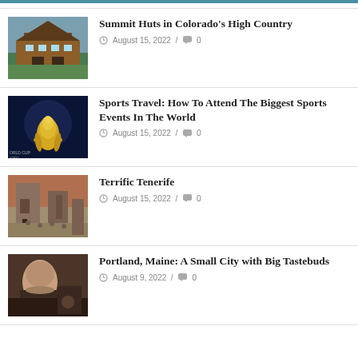Summit Huts in Colorado's High Country | August 15, 2022 / 0
Sports Travel: How To Attend The Biggest Sports Events In The World | August 15, 2022 / 0
Terrific Tenerife | August 15, 2022 / 0
Portland, Maine: A Small City with Big Tastebuds | August 9, 2022 / 0